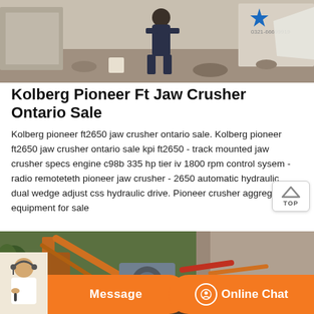[Figure (photo): A person in work clothes standing at an industrial/construction site with large stone blocks and equipment. A star logo and phone number visible in the top right corner.]
Kolberg Pioneer Ft Jaw Crusher Ontario Sale
Kolberg pioneer ft2650 jaw crusher ontario sale. Kolberg pioneer ft2650 jaw crusher ontario sale kpi ft2650 - track mounted jaw crusher specs engine c98b 335 hp tier iv 1800 rpm control sysem - radio remoteteth pioneer jaw crusher - 2650 automatic hydraulic dual wedge adjust css hydraulic drive. Pioneer crusher aggregate equipment for sale
[Figure (photo): Industrial jaw crusher machinery in operation at a quarry or mining site with rocky terrain in the background.]